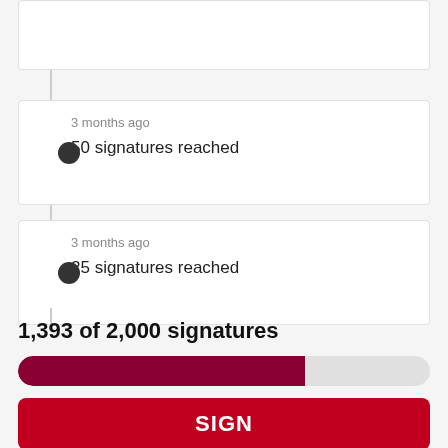3 months ago
50 signatures reached
3 months ago
25 signatures reached
1,393 of 2,000 signatures
[Figure (infographic): A horizontal progress bar showing approximately 69.65% filled in dark red/maroon color, representing 1,393 of 2,000 signatures collected.]
SIGN